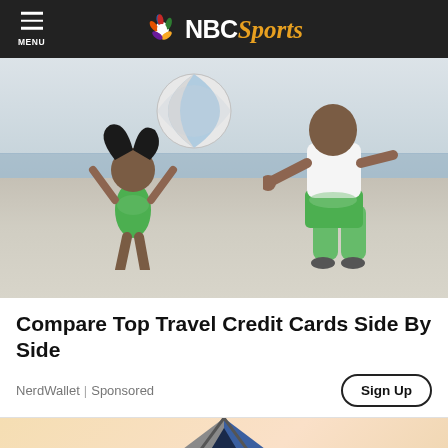MENU | NBC Sports
[Figure (photo): Father and daughter playing with a beach ball on the beach. The child in a green swimsuit is jumping with arms raised, and the adult in a white tank top and green shorts is leaning forward to catch the ball.]
Compare Top Travel Credit Cards Side By Side
NerdWallet | Sponsored
Sign Up
[Figure (illustration): Partial illustration of a tent on a sandy/tan background, appears to be the start of another advertisement below.]